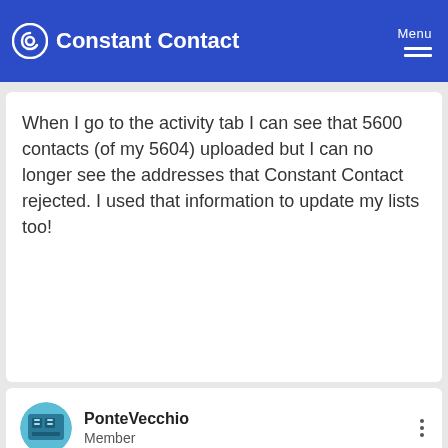Constant Contact | Menu
When I go to the activity tab I can see that 5600 contacts (of my 5604) uploaded but I can no longer see the addresses that Constant Contact rejected. I used that information to update my lists too!
PonteVecchio
Member
10-03-2013 07:11 AM